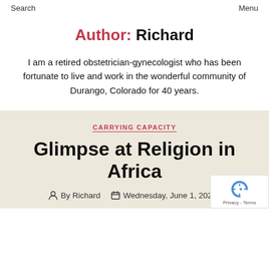Search    Menu
Author: Richard
I am a retired obstetrician-gynecologist who has been fortunate to live and work in the wonderful community of Durango, Colorado for 40 years.
CARRYING CAPACITY
Glimpse at Religion in Africa
By Richard   Wednesday, June 1, 202…